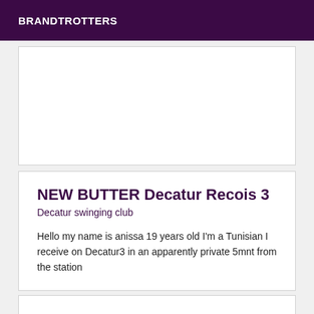BRANDTROTTERS
NEW BUTTER Decatur Recois 3
Decatur swinging club
Hello my name is anissa 19 years old I'm a Tunisian I receive on Decatur3 in an apparently private 5mnt from the station